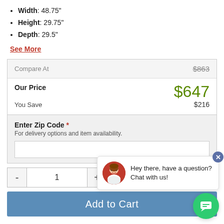Width: 48.75"
Height: 29.75"
Depth: 29.5"
See More
|  |  |
| --- | --- |
| Compare At | $863 |
| Our Price | $647 |
| You Save | $216 |
Enter Zip Code * For delivery options and item availability.
Hey there, have a question? Chat with us!
- 1 +
Add to Cart